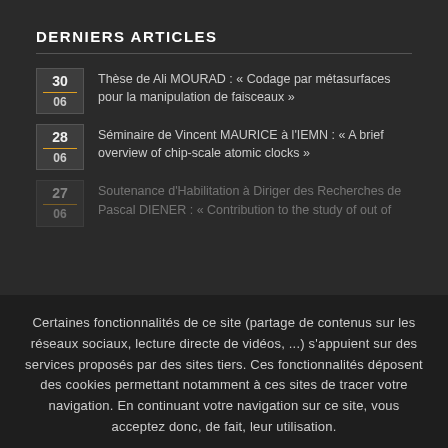DERNIERS ARTICLES
30 / 06 — Thèse de Ali MOURAD : « Codage par métasurfaces pour la manipulation de faisceaux »
28 / 06 — Séminaire de Vincent MAURICE à l'IEMN : « A brief overview of chip-scale atomic clocks »
27 / 06 — Soutenance d'Habilitation à Diriger des Recherches de Pascal DIENER : « Contribution to the study of out of…
Certaines fonctionnalités de ce site (partage de contenus sur les réseaux sociaux, lecture directe de vidéos, ...) s'appuient sur des services proposés par des sites tiers. Ces fonctionnalités déposent des cookies permettant notamment à ces sites de tracer votre navigation. En continuant votre navigation sur ce site, vous acceptez donc, de fait, leur utilisation.
OK
🇫🇷 Français